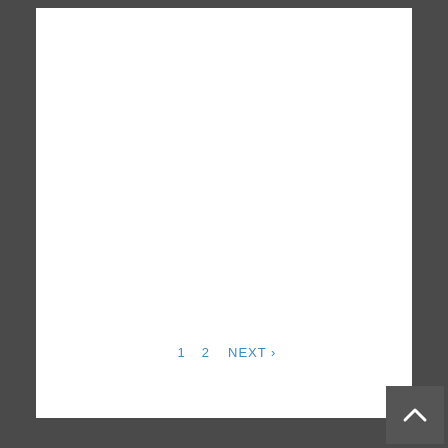1  2  NEXT ›
[Figure (other): Back to top button — dark grey square with upward pointing chevron arrow in white]